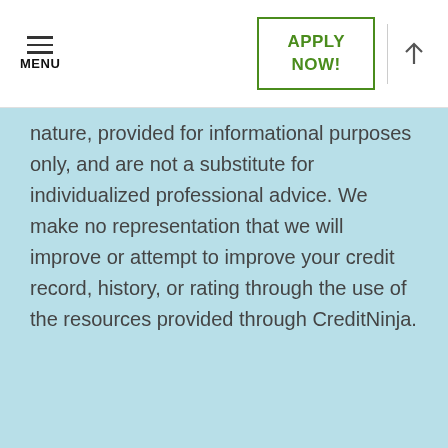MENU | APPLY NOW! | ↑
nature, provided for informational purposes only, and are not a substitute for individualized professional advice. We make no representation that we will improve or attempt to improve your credit record, history, or rating through the use of the resources provided through CreditNinja.